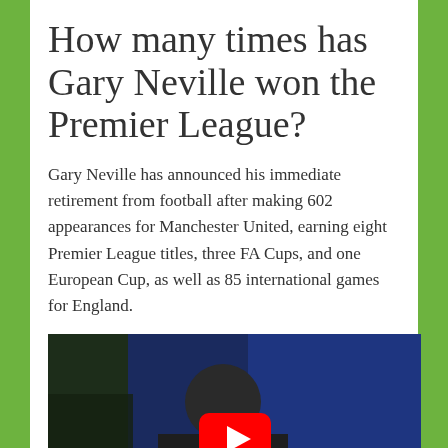How many times has Gary Neville won the Premier League?
Gary Neville has announced his immediate retirement from football after making 602 appearances for Manchester United, earning eight Premier League titles, three FA Cups, and one European Cup, as well as 85 international games for England.
[Figure (screenshot): Video thumbnail showing Gary Neville on Sky Sports MNF panel with a YouTube play button overlay]